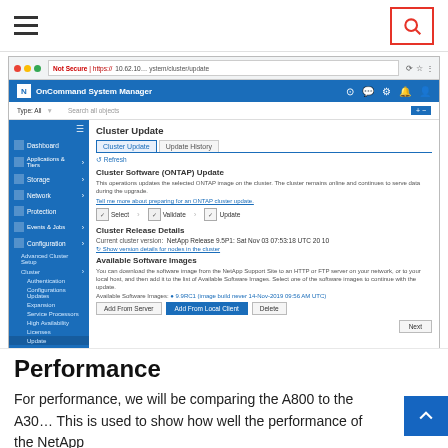[Figure (screenshot): Screenshot of NetApp OnCommand System Manager showing the Cluster Update page with Cluster Software (ONTAP) Update section, cluster release details, and available software images panel.]
Performance
For performance, we will be comparing the A800 to the A30... This is used to show how well the performance of the NetApp